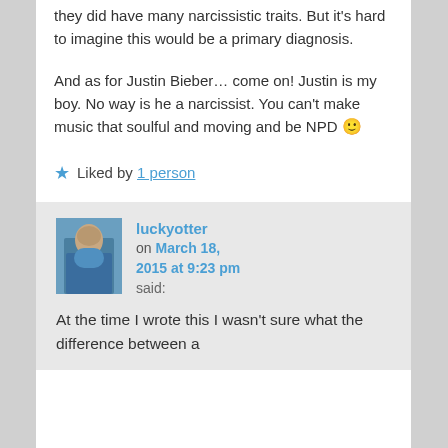they did have many narcissistic traits. But it's hard to imagine this would be a primary diagnosis.
And as for Justin Bieber… come on! Justin is my boy. No way is he a narcissist. You can't make music that soulful and moving and be NPD 🙂
★ Liked by 1 person
luckyotter on March 18, 2015 at 9:23 pm said:
At the time I wrote this I wasn't sure what the difference between a narcissist and a...